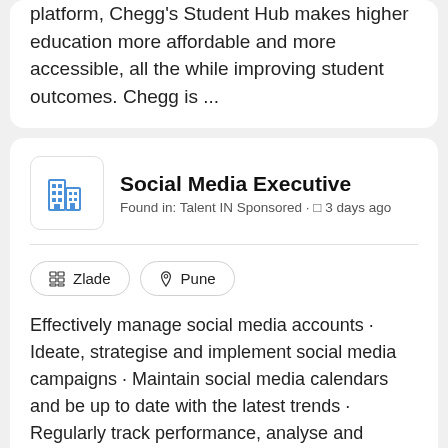platform, Chegg's Student Hub makes higher education more affordable and more accessible, all the while improving student outcomes. Chegg is ...
Social Media Executive
Found in: Talent IN Sponsored · 3 days ago
Zlade   Pune
Effectively manage social media accounts · Ideate, strategise and implement social media campaigns · Maintain social media calendars and be up to date with the latest trends · Regularly track performance, analyse and implement the